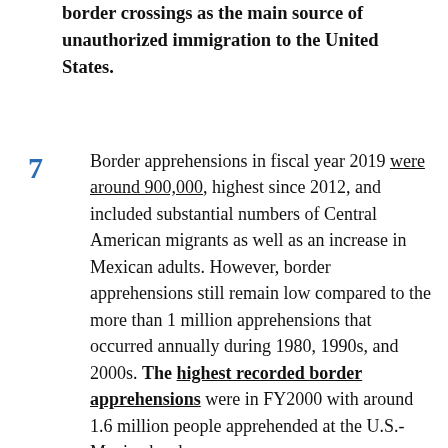border crossings as the main source of unauthorized immigration to the United States.
Border apprehensions in fiscal year 2019 were around 900,000, highest since 2012, and included substantial numbers of Central American migrants as well as an increase in Mexican adults. However, border apprehensions still remain low compared to the more than 1 million apprehensions that occurred annually during 1980, 1990s, and 2000s. The highest recorded border apprehensions were in FY2000 with around 1.6 million people apprehended at the U.S.-Mexico border.